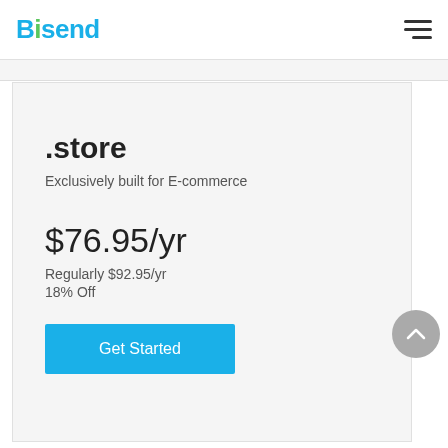Bisend
.store
Exclusively built for E-commerce
$76.95/yr
Regularly $92.95/yr
18% Off
Get Started